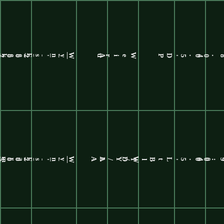| 2007 | Wyn's EeekK!:; | A | Weird | DP | 4.5' | $8.00 |  |
| 2005 | Wyn's FarmerJohn | AA | ID | LtBl W/Y/L | 4.5' | $9.00 | 3/$25.00 |
|  |  |  |  |  |  |  |  |